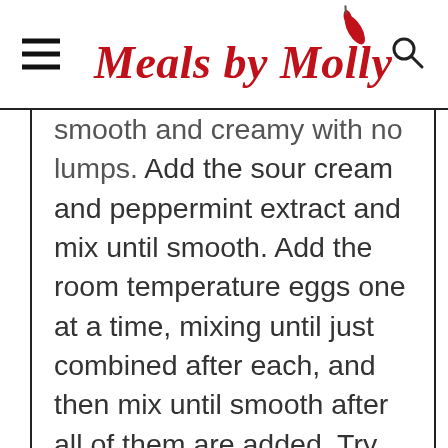Meals by Molly
smooth and creamy with no lumps. Add the sour cream and peppermint extract and mix until smooth. Add the room temperature eggs one at a time, mixing until just combined after each, and then mix until smooth after all of them are added. Try not to overmix. Fold in the chopped semi-sweet and white chocolate and the